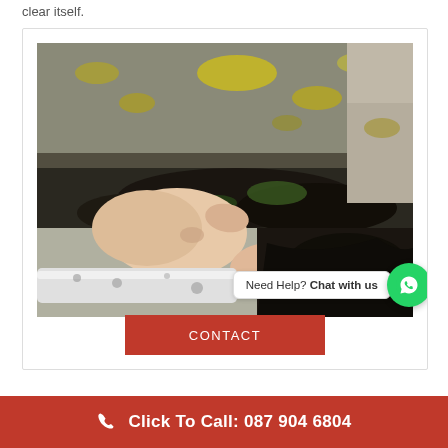clear itself.
[Figure (photo): A hand cleaning debris and moss from a roof gutter, with mossy roof tiles visible above and a white guttering pipe below.]
Need Help? Chat with us
CONTACT
Click To Call: 087 904 6804